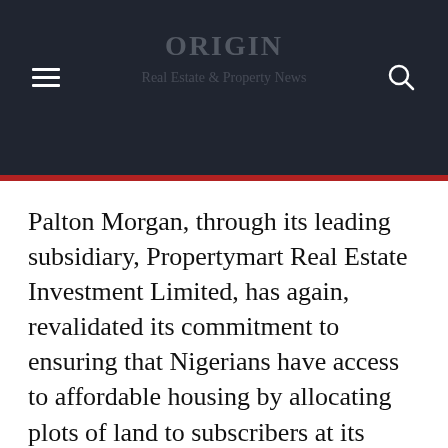[Figure (screenshot): Website header with dark navy/charcoal background, hamburger menu icon on left, search icon on right, and faint text overlay showing website name/logo in center]
Palton Morgan, through its leading subsidiary, Propertymart Real Estate Investment Limited, has again, revalidated its commitment to ensuring that Nigerians have access to affordable housing by allocating plots of land to subscribers at its